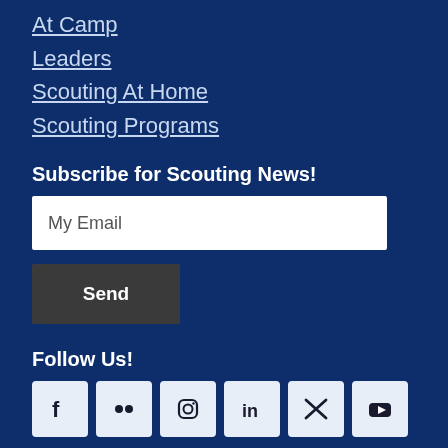At Camp
Leaders
Scouting At Home
Scouting Programs
Subscribe for Scouting News!
My Email
Send
Follow Us!
[Figure (other): Social media icons: Facebook, Flickr, Instagram, LinkedIn, Twitter/X, YouTube]